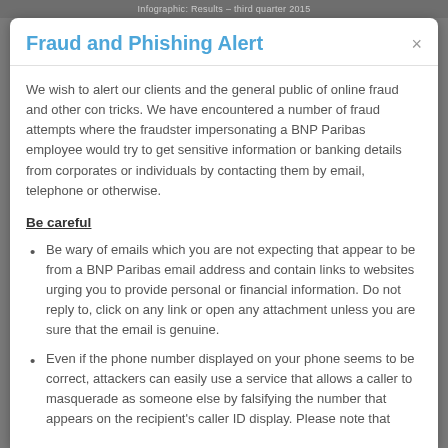Infographic: Results – third quarter 2015
Fraud and Phishing Alert
We wish to alert our clients and the general public of online fraud and other con tricks. We have encountered a number of fraud attempts where the fraudster impersonating a BNP Paribas employee would try to get sensitive information or banking details from corporates or individuals by contacting them by email, telephone or otherwise.
Be careful
Be wary of emails which you are not expecting that appear to be from a BNP Paribas email address and contain links to websites urging you to provide personal or financial information. Do not reply to, click on any link or open any attachment unless you are sure that the email is genuine.
Even if the phone number displayed on your phone seems to be correct, attackers can easily use a service that allows a caller to masquerade as someone else by falsifying the number that appears on the recipient's caller ID display. Please note that…